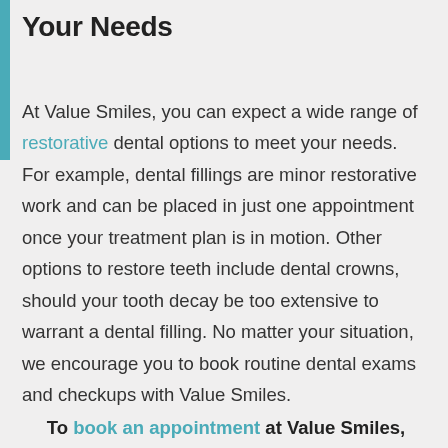Your Needs
At Value Smiles, you can expect a wide range of restorative dental options to meet your needs. For example, dental fillings are minor restorative work and can be placed in just one appointment once your treatment plan is in motion. Other options to restore teeth include dental crowns, should your tooth decay be too extensive to warrant a dental filling. No matter your situation, we encourage you to book routine dental exams and checkups with Value Smiles.
To book an appointment at Value Smiles,